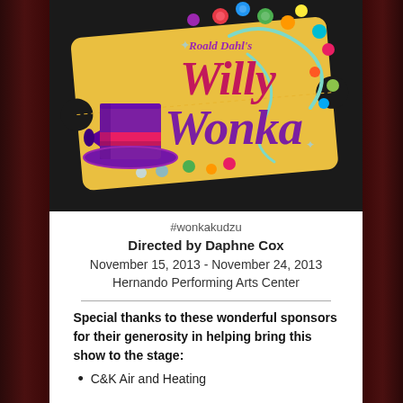[Figure (illustration): Willy Wonka musical logo featuring 'Roald Dahl's Willy Wonka' in colorful purple and pink text on a golden ticket background, with a purple top hat, colorful candy gems, and swirling decorations]
#wonkakudzu
Directed by Daphne Cox
November 15, 2013 - November 24, 2013
Hernando Performing Arts Center
Special thanks to these wonderful sponsors for their generosity in helping bring this show to the stage:
C&K Air and Heating